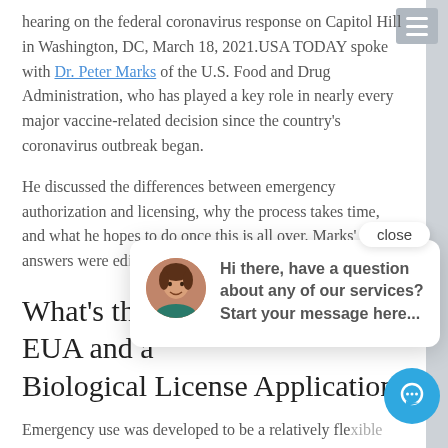hearing on the federal coronavirus response on Capitol Hill in Washington, DC, March 18, 2021. USA TODAY spoke with Dr. Peter Marks of the U.S. Food and Drug Administration, who has played a key role in nearly every major vaccine-related decision since the country's coronavirus outbreak began.
He discussed the differences between emergency authorization and licensing, why the process takes time, and what he hopes to do once this is all over. Marks' answers were edited...
What's the difference between an EUA and a full approval — a Biological License Application?
Emergency use was developed to be a relatively flexible process that would allow us to adapt to a variety of
[Figure (screenshot): Chat popup dialog with a close button, avatar of a woman, and the message 'Hi there, have a question about any of our services? Start your message here...' A blue circular chat icon is also visible in the bottom right.]